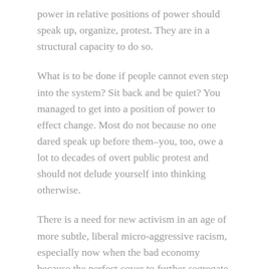power in relative positions of power should speak up, organize, protest. They are in a structural capacity to do so.
What is to be done if people cannot even step into the system? Sit back and be quiet? You managed to get into a position of power to effect change. Most do not because no one dared speak up before them–you, too, owe a lot to decades of overt public protest and should not delude yourself into thinking otherwise.
There is a need for new activism in an age of more subtle, liberal micro-aggressive racism, especially now when the bad economy because the perfect cover to further segregate industries and the academy.
The internet is the new public street and I applaud Breeze